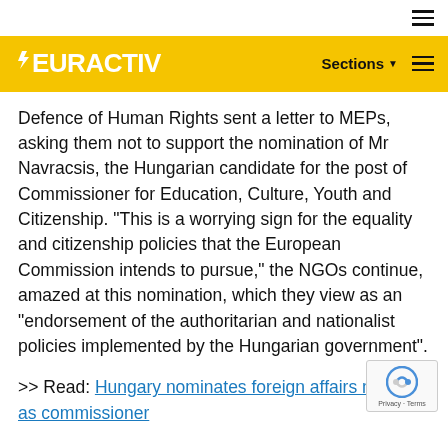EURACTIV — Sections
Defence of Human Rights sent a letter to MEPs, asking them not to support the nomination of Mr Navracsis, the Hungarian candidate for the post of Commissioner for Education, Culture, Youth and Citizenship. “This is a worrying sign for the equality and citizenship policies that the European Commission intends to pursue,” the NGOs continue, amazed at this nomination, which they view as an “endorsement of the authoritarian and nationalist policies implemented by the Hungarian government”.
>> Read: Hungary nominates foreign affairs minister as commissioner
BACKGROUND